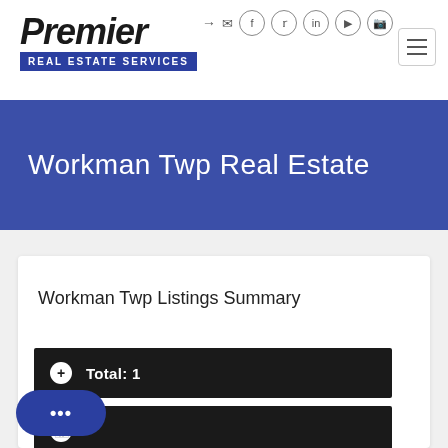[Figure (logo): Premier Real Estate Services logo with italic bold text and blue banner subtitle]
Workman Twp Real Estate
Workman Twp Listings Summary
Total: 1